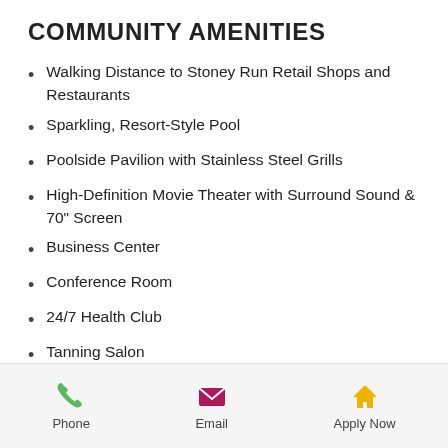COMMUNITY AMENITIES
Walking Distance to Stoney Run Retail Shops and Restaurants
Sparkling, Resort-Style Pool
Poolside Pavilion with Stainless Steel Grills
High-Definition Movie Theater with Surround Sound & 70" Screen
Business Center
Conference Room
24/7 Health Club
Tanning Salon
Coffee Bar
[Figure (infographic): Footer bar with three icons: green phone icon labeled Phone, magenta/pink email envelope icon labeled Email, yellow house icon labeled Apply Now]